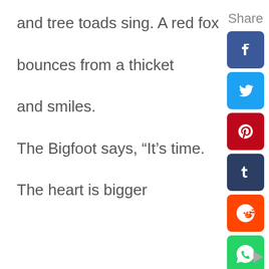and tree toads sing.  A red fox
bounces from a thicket
and smiles.
The Bigfoot says, “It’s time.
The heart is bigger
[Figure (infographic): Social share panel with Share label and icons for Facebook, Twitter, Pinterest, Tumblr, Reddit, WhatsApp, and a right-arrow navigation button at the bottom right.]